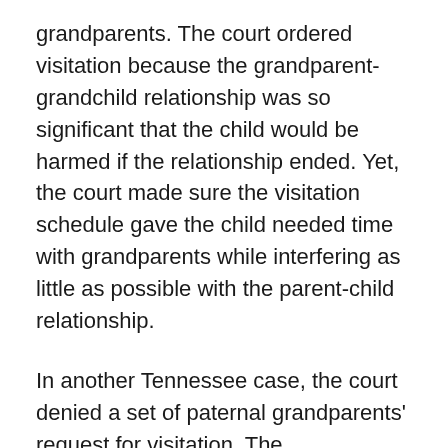grandparents. The court ordered visitation because the grandparent-grandchild relationship was so significant that the child would be harmed if the relationship ended. Yet, the court made sure the visitation schedule gave the child needed time with grandparents while interfering as little as possible with the parent-child relationship.
In another Tennessee case, the court denied a set of paternal grandparents' request for visitation. The grandparents visited with their grandson weekly during his first two years of life. However, when the child's father (and grandparents' son) died, the child's mother immediately cut off grandparent visits. The court deferred to the mother's parenting decision to prevent grandparent visitation because the grandparents couldn't show that the child would